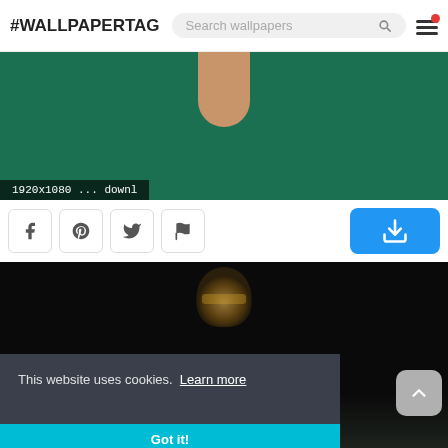#WALLPAPERTAG
[Figure (screenshot): Wallpaper thumbnail showing dark green background with a neck/collar shape in beige/skin tone, with overlay text '1920x1080 ... downl']
1920x1080 ... downl
[Figure (screenshot): Wallpaper thumbnail showing a dark figure with glowing face against black background]
This website uses cookies.  Learn more
Got it!